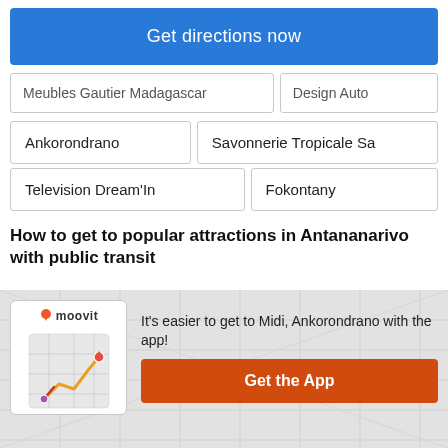Get directions now
Meubles Gautier Madagascar
Design Auto
Ankorondrano
Savonnerie Tropicale Sa
Television Dream'In
Fokontany
How to get to popular attractions in Antananarivo with public transit
[Figure (screenshot): Moovit app screenshot showing map route with orange path]
It's easier to get to Midi, Ankorondrano with the app!
Get the App